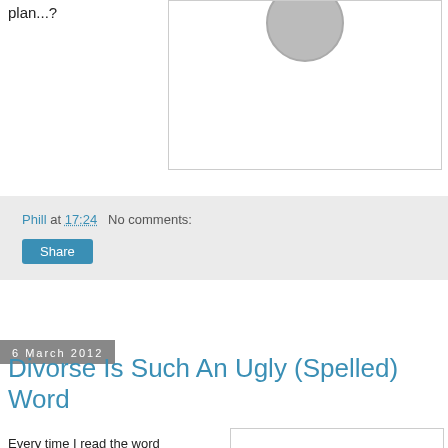plan...?
[Figure (photo): User avatar circle partially visible at top of image box]
Phill at 17:24   No comments:
Share
6 March 2012
Divorse Is Such An Ugly (Spelled) Word
Every time I read the word